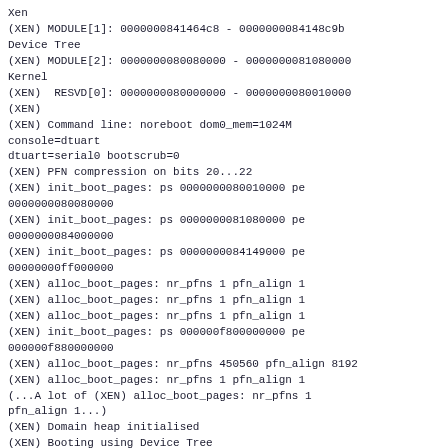Xen
(XEN) MODULE[1]: 0000000841464c8 - 0000000084148c9b
Device Tree
(XEN) MODULE[2]: 0000000080080000 - 0000000081080000
Kernel
(XEN)  RESVD[0]: 0000000080000000 - 0000000080010000
(XEN)
(XEN) Command line: noreboot dom0_mem=1024M
console=dtuart
dtuart=serial0 bootscrub=0
(XEN) PFN compression on bits 20...22
(XEN) init_boot_pages: ps 0000000080010000 pe
0000000080080000
(XEN) init_boot_pages: ps 0000000081080000 pe
0000000084000000
(XEN) init_boot_pages: ps 0000000084149000 pe
00000000ff000000
(XEN) alloc_boot_pages: nr_pfns 1 pfn_align 1
(XEN) alloc_boot_pages: nr_pfns 1 pfn_align 1
(XEN) alloc_boot_pages: nr_pfns 1 pfn_align 1
(XEN) init_boot_pages: ps 000000f800000000 pe
000000f880000000
(XEN) alloc_boot_pages: nr_pfns 450560 pfn_align 8192
(XEN) alloc_boot_pages: nr_pfns 1 pfn_align 1
(...A lot of (XEN) alloc_boot_pages: nr_pfns 1
pfn_align 1...)
(XEN) Domain heap initialised
(XEN) Booting using Device Tree
Hope these can help. Thank you.